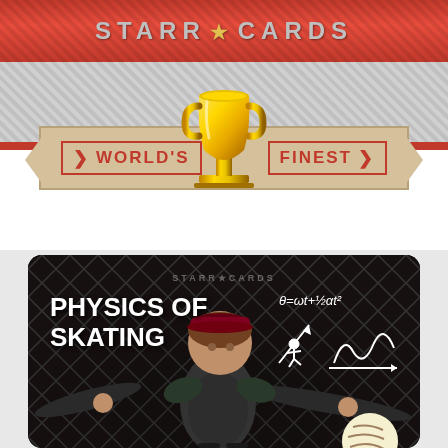STARR★CARDS
WORLD'S FINEST
[Figure (illustration): Gold trophy cup centered above the World's Finest ribbon banner]
[Figure (photo): Dark card with diamond mesh background showing a skater with arms outstretched, wearing a cap and t-shirt. Text reads 'PHYSICS OF SKATING' with physics formula θ=ωt+½αt² and physics diagrams in upper right. STARR★CARDS watermark visible at top center.]